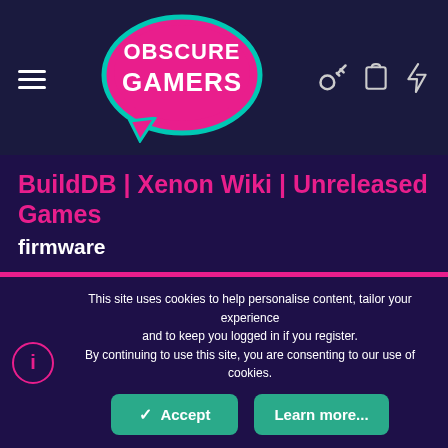Obscure Gamers — BuildDB | Xenon Wiki | Unreleased Games
BuildDB | Xenon Wiki | Unreleased Games
firmware
< Tags
PS2 debug stations (playstation driver firmware)
Hi all, Firstly Happy New Year. Let's hope 2021 is a marked improvement over last year! Anyway, on to business....this is a weird one, I just found my old DTL-H20101F in the attic, I'm
This site uses cookies to help personalise content, tailor your experience and to keep you logged in if you register.
By continuing to use this site, you are consenting to our use of cookies.
Accept
Learn more...